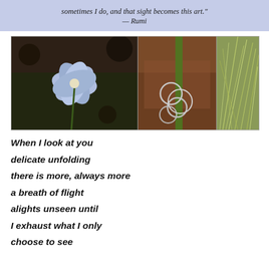sometimes I do, and that sight becomes this art."
— Rumi
[Figure (photo): Three nature photographs side by side: a blue chicory flower close-up on the left, coiled wire rings on red dirt with a green plant stem in the middle, and wispy golden-green grass on the right.]
When I look at you
delicate unfolding
there is more, always more
a breath of flight
alights unseen until
I exhaust what I only
choose to see